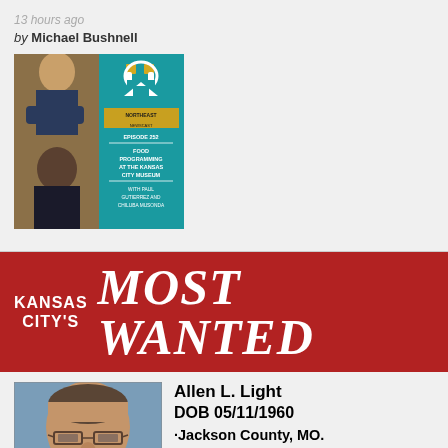13 hours ago
by Michael Bushnell
[Figure (photo): Podcast thumbnail for Northeast Newscast Episode 252 - Food Programming at the Kansas City Museum with Paul Gutierrez and Chiluba Musonda]
[Figure (infographic): Kansas City's Most Wanted banner image in red with white text]
[Figure (photo): Mugshot photo of Allen L. Light]
Allen L. Light DOB 05/11/1960 ·Jackson County, MO. Warrant for Sex Offender Registration Violation ·Jackson County, MO. Probation Violation